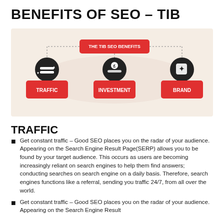BENEFITS OF SEO – TIB
[Figure (flowchart): Infographic showing 'THE TIB SEO BENEFITS' connected by dotted lines to three boxes: TRAFFIC (arrows icon), INVESTMENT (hand with coin icon), BRAND (tag icon)]
TRAFFIC
Get constant traffic – Good SEO places you on the radar of your audience. Appearing on the Search Engine Result Page(SERP) allows you to be found by your target audience. This occurs as users are becoming increasingly reliant on search engines to help them find answers; conducting searches on search engine on a daily basis. Therefore, search engines functions like a referral, sending you traffic 24/7, from all over the world.
Get constant traffic – Good SEO places you on the radar of your audience. Appearing on the Search Engine Result